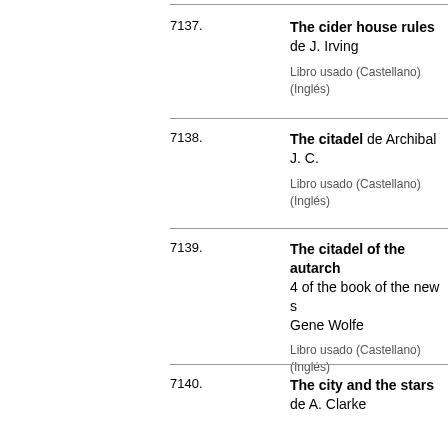7137. The cider house rules de J. Irving
Libro usado (Castellano) (Inglés)
7138. The citadel de Archibal J. C.
Libro usado (Castellano) (Inglés)
7139. The citadel of the autarch 4 of the book of the new s Gene Wolfe
Libro usado (Castellano) (Inglés)
7140. The city and the stars de A. Clarke